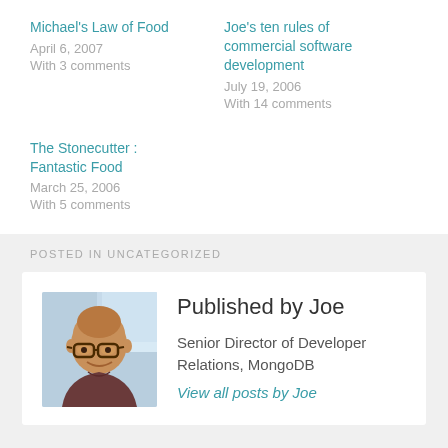Michael's Law of Food
April 6, 2007
With 3 comments
Joe's ten rules of commercial software development
July 19, 2006
With 14 comments
The Stonecutter : Fantastic Food
March 25, 2006
With 5 comments
POSTED IN UNCATEGORIZED
Published by Joe
Senior Director of Developer Relations, MongoDB
View all posts by Joe